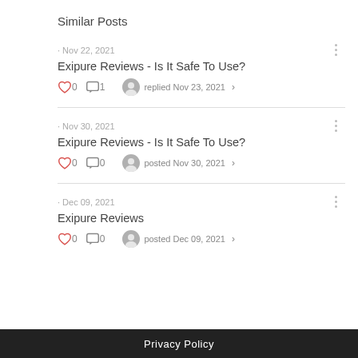Similar Posts
· Nov 22, 2021
Exipure Reviews - Is It Safe To Use?
0  1  replied Nov 23, 2021 >
· Nov 30, 2021
Exipure Reviews - Is It Safe To Use?
0  0  posted Nov 30, 2021 >
· Dec 09, 2021
Exipure Reviews
0  0  posted Dec 09, 2021 >
Privacy Policy